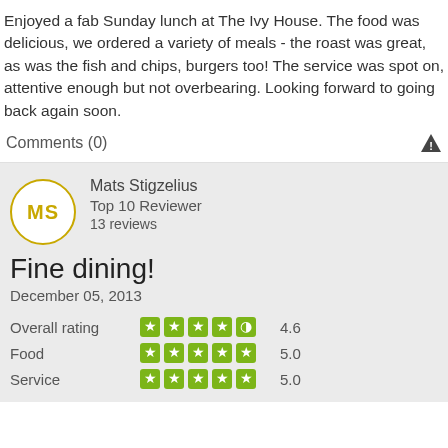Enjoyed a fab Sunday lunch at The Ivy House. The food was delicious, we ordered a variety of meals - the roast was great, as was the fish and chips, burgers too! The service was spot on, attentive enough but not overbearing. Looking forward to going back again soon.
Comments (0)
Mats Stigzelius
Top 10 Reviewer
13 reviews
Fine dining!
December 05, 2013
|  | Stars | Rating |
| --- | --- | --- |
| Overall rating | 4.5 stars | 4.6 |
| Food | 5 stars | 5.0 |
| Service | 5 stars | 5.0 |